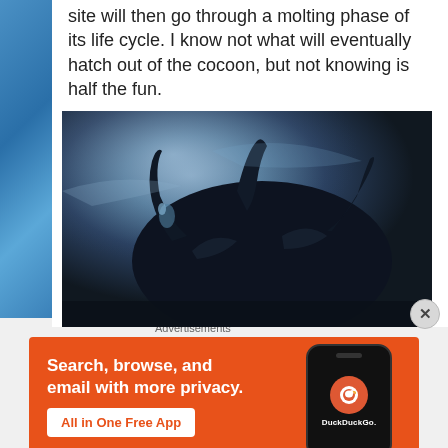site will then go through a molting phase of its life cycle. I know not what will eventually hatch out of the cocoon, but not knowing is half the fun.
[Figure (photo): Dark cinematic image of a large creature or alien-like entity with multiple appendages, rendered in dark blues and blacks with atmospheric mist or fog in the background.]
Advertisements
[Figure (infographic): DuckDuckGo advertisement banner with orange background. Text reads: Search, browse, and email with more privacy. All in One Free App. Shows a smartphone with the DuckDuckGo app logo and name.]